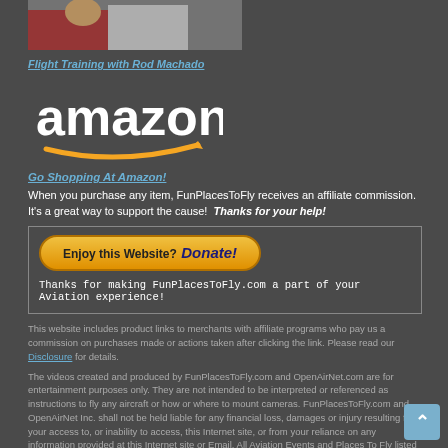[Figure (photo): Partial photo strip showing person in red pants and another figure, cropped]
Flight Training with Rod Machado
[Figure (logo): Amazon logo with orange arrow swoosh]
Go Shopping At Amazon!
When you purchase any item, FunPlacesToFly receives an affiliate commission. It's a great way to support the cause! Thanks for your help!
[Figure (other): Donate button: Enjoy this Website? Donate! Thanks for making FunPlacesToFly.com a part of your Aviation experience!]
This website includes product links to merchants with affiliate programs who pay us a commission on purchases made or actions taken after clicking the link. Please read our Disclosure for details.
The videos created and produced by FunPlacesToFly.com and OpenAirNet.com are for entertainment purposes only. They are not intended to be interpreted or referenced as instructions to fly any aircraft or how or where to mount cameras. FunPlacesToFly.com and OpenAirNet Inc. shall not be held liable for any financial loss, damages or injury resulting from your access to, or inability to access, this Internet site, or from your reliance on any information provided at this Internet site or Email. All Aviation Events and Places To Fly listed are provided by the general public. FunPlacesToFly.com and OpenAirNet Inc. shall not be liable for false or inaccurate listings, financial loss, damages or injury. We do not verify or